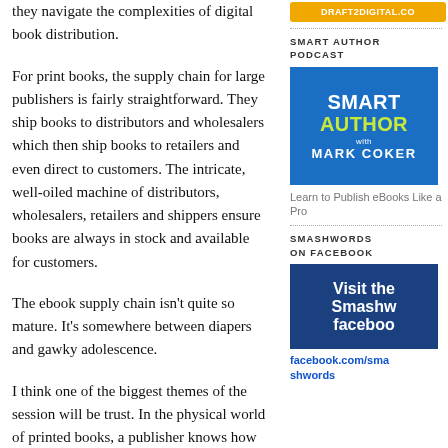they navigate the complexities of digital book distribution.
For print books, the supply chain for large publishers is fairly straightforward. They ship books to distributors and wholesalers which then ship books to retailers and even direct to customers. The intricate, well-oiled machine of distributors, wholesalers, retailers and shippers ensure books are always in stock and available for customers.
The ebook supply chain isn't quite so mature. It's somewhere between diapers and gawky adolescence.
I think one of the biggest themes of the session will be trust. In the physical world of printed books, a publisher knows how many books they printed, and how many they shipped. Books are easily tracked and accounted for along every step of the supply chain.
With digital books, the publisher ships a single file to their distributor, digital warehouse or retailer, and
[Figure (screenshot): DRAFT2DIGITAL.CO orange button]
SMART AUTHOR PODCAST
[Figure (logo): Smart Author Podcast logo with blue background, white text 'SMART', yellow-green text 'AUTHOR', 'with' subtext, and white text 'MARK COKER']
Learn to Publish eBooks Like a Pro
SMASHWORDS ON FACEBOOK
[Figure (screenshot): Smashwords Facebook page banner showing 'Visit the Smashw facebook' on dark blue background]
facebook.com/smashwords